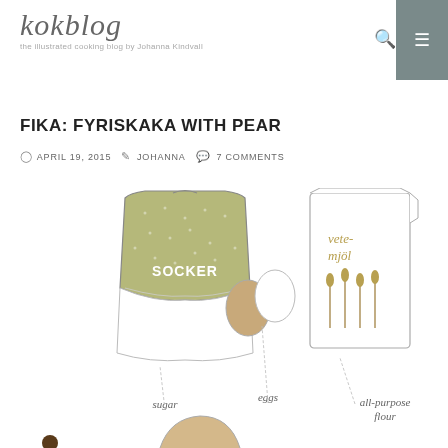kokblog — the illustrated cooking blog by Johanna Kindvall
FIKA: FYRISKAKA WITH PEAR
APRIL 19, 2015  JOHANNA  7 COMMENTS
[Figure (illustration): Illustrated ingredients for a baking recipe: a green bag of sugar labeled 'SOCKER', two eggs, a white carton of wheat flour labeled 'Vete mjöl' with wheat stalk drawings, with handwritten labels below reading 'sugar', 'eggs', and 'all-purpose flour'. Additional partial ingredients visible at bottom edge.]